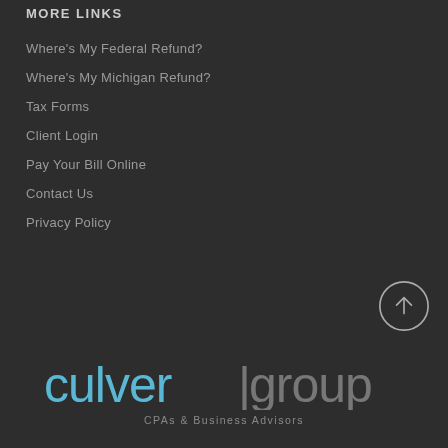MORE LINKS
Where's My Federal Refund?
Where's My Michigan Refund?
Tax Forms
Client Login
Pay Your Bill Online
Contact Us
Privacy Policy
[Figure (logo): Culver Group logo with up-arrow icon. Logo reads 'culver|group' in light blue and grey, with subtitle 'CPAs & Business Advisors'. A circle with an upward arrow appears to the upper-right of the logo.]